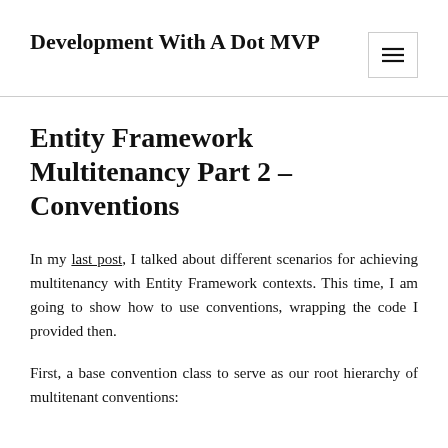Development With A Dot MVP
Entity Framework Multitenancy Part 2 – Conventions
In my last post, I talked about different scenarios for achieving multitenancy with Entity Framework contexts. This time, I am going to show how to use conventions, wrapping the code I provided then.
First, a base convention class to serve as our root hierarchy of multitenant conventions: